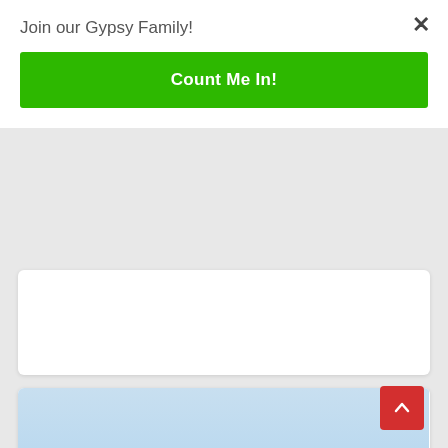Join our Gypsy Family!
Count Me In!
[Figure (photo): Aerial view of a coastal beach with a river delta, palm trees, sandy shoreline and blue ocean water.]